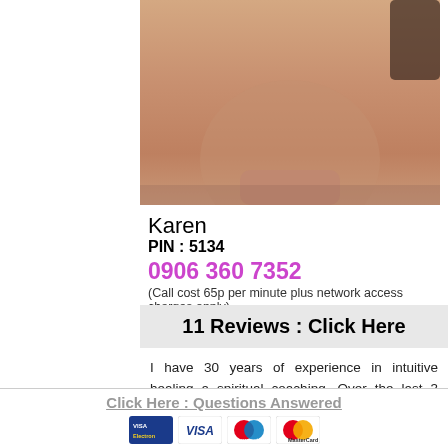[Figure (photo): Close-up photo of a person's face and neck, cropped showing lower face and chin area]
Karen
PIN : 5134
0906 360 7352
(Call cost 65p per minute plus network access charges apply)
11 Reviews : Click Here
I have 30 years of experience in intuitive healing and spiritual coaching. Over the last 3 decades, I have assisted people, spiritually and emotionally, from all walks of life, enhancing their lives. I connect with spirit guides who communicate with me through the divine energy of my Tarot, Angel, and Oracle cards. PIN: 5134
Click Here : Questions Answered
[Figure (logo): Payment icons: Visa Electron, Visa, Maestro, Mastercard]